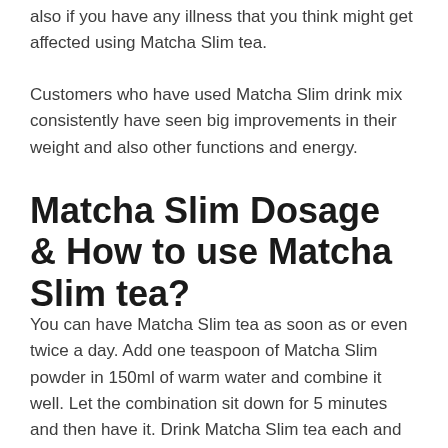also if you have any illness that you think might get affected using Matcha Slim tea.
Customers who have used Matcha Slim drink mix consistently have seen big improvements in their weight and also other functions and energy.
Matcha Slim Dosage & How to use Matcha Slim tea?
You can have Matcha Slim tea as soon as or even twice a day. Add one teaspoon of Matcha Slim powder in 150ml of warm water and combine it well. Let the combination sit down for 5 minutes and then have it. Drink Matcha Slim tea each and every day for a month to see the pleasant results.